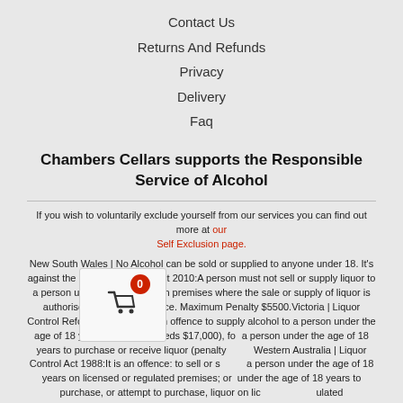Contact Us
Returns And Refunds
Privacy
Delivery
Faq
Chambers Cellars supports the Responsible Service of Alcohol
If you wish to voluntarily exclude yourself from our services you can find out more at our Self Exclusion page.
New South Wales | No Alcohol can be sold or supplied to anyone under 18. It's against the law. ACT | Liquor Act 2010:A person must not sell or supply liquor to a person under 18 years old on premises where the sale or supply of liquor is authorised or in a public place. Maximum Penalty $5500.Victoria | Liquor Control Reform Act 1998:It is an offence to supply alcohol to a person under the age of 18 years (penalty exceeds $17,000), for a person under the age of 18 years to purchase or receive liquor (penalty ...).Western Australia | Liquor Control Act 1988:It is an offence: to sell or supply a person under the age of 18 years on licensed or regulated premises; or under the age of 18 years to purchase, or attempt to purchase, liquor on licensed or regulated premises.South Australia | Liquor Licensing Act 1997:Liquor must not be supplied to persons under 18. ABN 77 159 767 843.Queensland | Liquor Act 1992:It is an offence to supply liquor to a person under the age of 18 years.Tasmania | Liquor Licensing Act 1990: It is an offence for liquor to be delivered to a person under